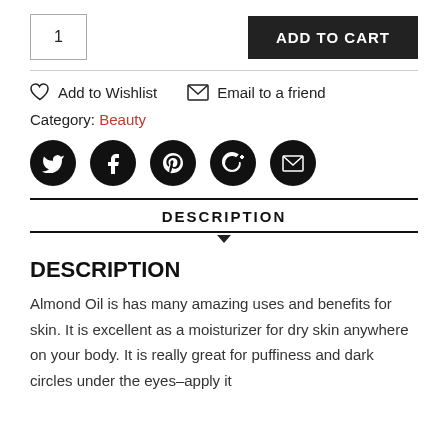1
ADD TO CART
Add to Wishlist   Email to a friend
Category: Beauty
[Figure (other): Social media share icons: Twitter, Facebook, Pinterest, Google+, Email — black circles]
DESCRIPTION
DESCRIPTION
Almond Oil is has many amazing uses and benefits for skin. It is excellent as a moisturizer for dry skin anywhere on your body. It is really great for puffiness and dark circles under the eyes–apply it